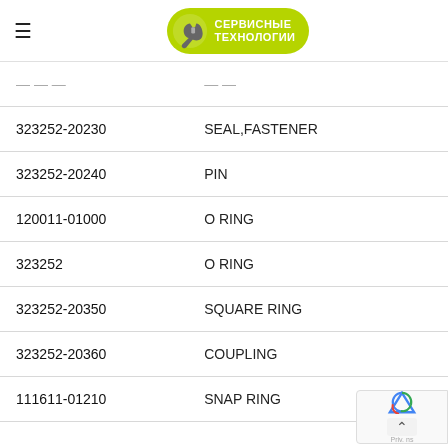СЕРВИСНЫЕ ТЕХНОЛОГИИ
| Part Number | Description |
| --- | --- |
| 323252-20230 | SEAL,FASTENER |
| 323252-20240 | PIN |
| 120011-01000 | O RING |
| 323252 | O RING |
| 323252-20350 | SQUARE RING |
| 323252-20360 | COUPLING |
| 111611-01210 | SNAP RING |